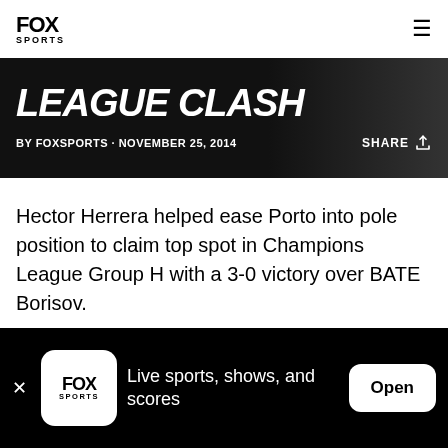FOX SPORTS
LEAGUE CLASH
BY FOXSPORTS · NOVEMBER 25, 2014
Hector Herrera helped ease Porto into pole position to claim top spot in Champions League Group H with a 3-0 victory over BATE Borisov.
Herrera fired the visitors ahead after 56 minutes at the Borisov Arena and set up captain Jackson
Live sports, shows, and scores